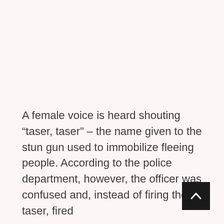A female voice is heard shouting “taser, taser” – the name given to the stun gun used to immobilize fleeing people. According to the police department, however, the officer was confused and, instead of firing the taser, fired